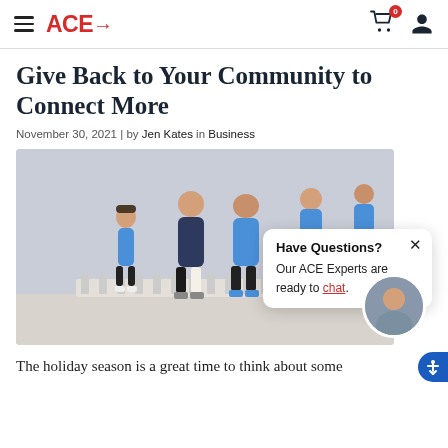ACE→ [navigation header with hamburger menu, cart, and user icons]
Give Back to Your Community to Connect More
November 30, 2021 | by Jen Kates in Business
[Figure (photo): Group of middle-aged men in blue shirts walking together outdoors along a stone balustrade. A popup overlay reads 'Have Questions? Our ACE Experts are ready to chat.' A circular avatar of a smiling man appears in the bottom right.]
The holiday season is a great time to think about some